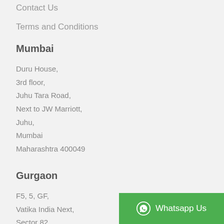Contact Us
Terms and Conditions
Mumbai
Duru House,
3rd floor,
Juhu Tara Road,
Next to JW Marriott,
Juhu,
Mumbai
Maharashtra 400049
Gurgaon
F5, 5, GF,
Vatika India Next,
Sector 82,
[Figure (other): WhatsApp Us green button with WhatsApp icon]